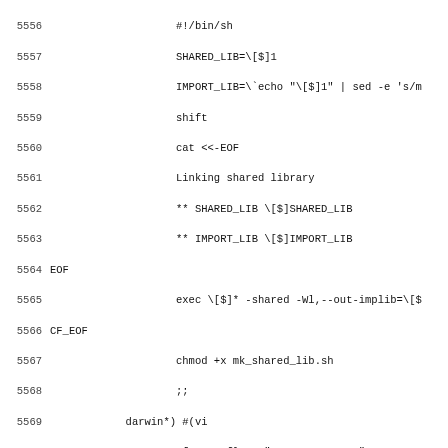Source code listing lines 5556-5587, shell script and autoconf configuration code